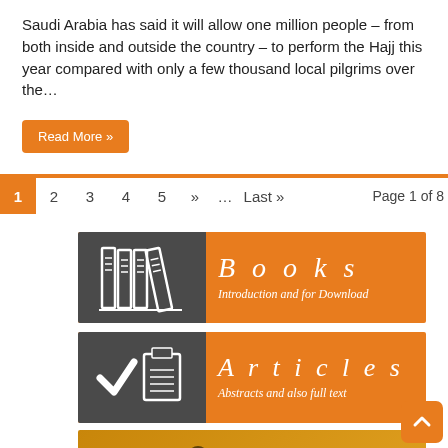Saudi Arabia has said it will allow one million people – from both inside and outside the country – to perform the Hajj this year compared with only a few thousand local pilgrims over the...
Read More »
1  2  3  4  5  »  ...  Last »   Page 1 of 8
[Figure (illustration): Orange banner with dark grey icon area showing books, text reads 'Books - Introduction and for Download' in italic white lettering]
[Figure (illustration): Orange banner with dark grey icon area showing checkmark and document, text reads 'Articles - Abstracts and also full text' in italic white lettering]
[Figure (illustration): Orange/golden banner with silhouettes of people and cursive white text 'Family Life in Islam']